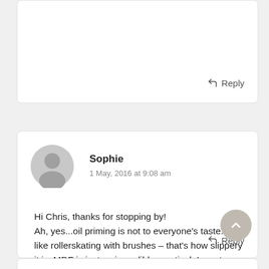Reply
Sophie
1 May, 2016 at 9:08 am
Hi Chris, thanks for stopping by!
Ah, yes...oil priming is not to everyone's taste...its like rollerskating with brushes – that's how slippery it is. MDF is just so incredibly practical. I must admit I am a tad concerned about the formaldehyde in it but on the other hand so many art materials manufacturers and artists use it, so perhaps... ugh. dunno. ☺
Reply